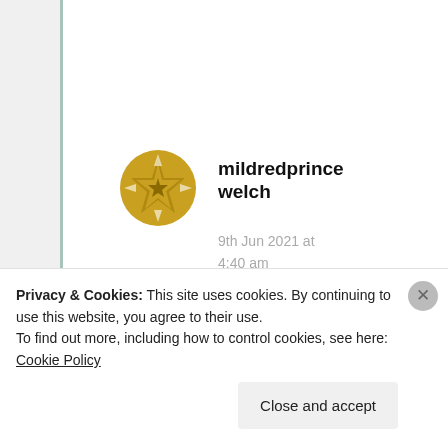mildredprincewelch
9th Jun 2021 at 4:40 am
of course Indian Queen!!
★ Liked by 2 people
Advertisements
Privacy & Cookies: This site uses cookies. By continuing to use this website, you agree to their use.
To find out more, including how to control cookies, see here: Cookie Policy
Close and accept